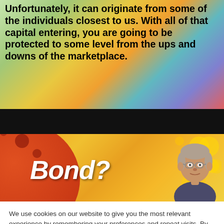Unfortunately, it can originate from some of the individuals closest to us. With all of that capital entering, you are going to be protected to some level from the ups and downs of the marketplace.
[Figure (screenshot): Video banner with black header bar and orange background showing 'Bond?' text in bold italic white with a large red circle and a man's face on the right]
We use cookies on our website to give you the most relevant experience by remembering your preferences and repeat visits. By clicking "Accept All", you consent to the use of ALL the cookies. However, you may visit "Cookie Settings" to provide a controlled consent.